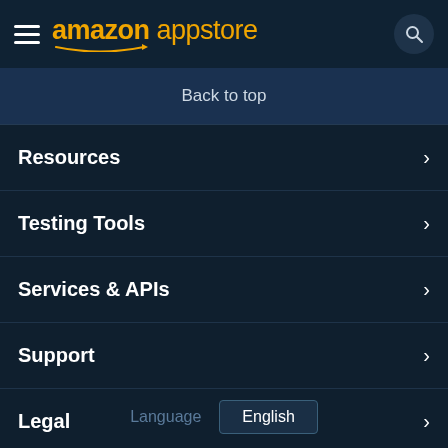amazon appstore
Back to top
Resources
Testing Tools
Services & APIs
Support
Legal
Language  English